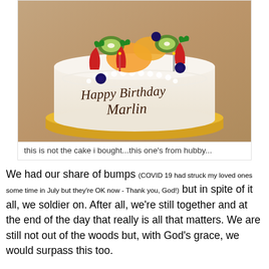[Figure (photo): A white birthday cake decorated with fresh fruits including strawberries, kiwi slices, blueberries, and peach/mandarin slices on top with whipped cream rosettes. The cake has 'Happy Birthday Marlin' written in chocolate script on the front. It sits on a gold cardboard base on a marble/granite surface.]
this is not the cake i bought...this one's from hubby...
We had our share of bumps (COVID 19 had struck my loved ones some time in July but they're OK now - Thank you, God!) but in spite of it all, we soldier on. After all, we're still together and at the end of the day that really is all that matters. We are still not out of the woods but, with God's grace, we would surpass this too.